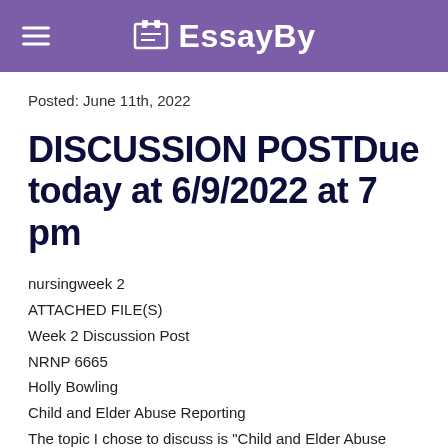EssayBy
Posted: June 11th, 2022
DISCUSSION POSTDue today at 6/9/2022 at 7 pm
nursingweek 2
ATTACHED FILE(S)
Week 2 Discussion Post
NRNP 6665
Holly Bowling
Child and Elder Abuse Reporting
The topic I chose to discuss is "Child and Elder Abuse Reporting." This is the...